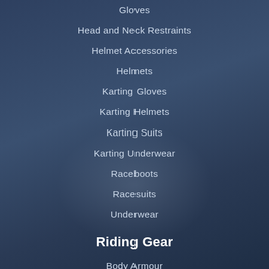Gloves
Head and Neck Restraints
Helmet Accessories
Helmets
Karting Gloves
Karting Helmets
Karting Suits
Karting Underwear
Raceboots
Racesuits
Underwear
Riding Gear
Body Armour
Goggles